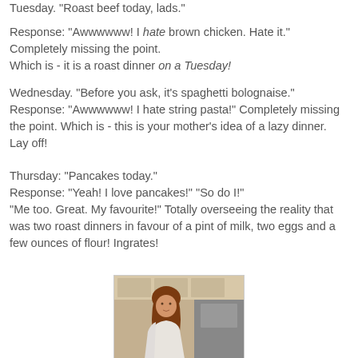Tuesday.  "Roast beef today, lads."
Response:  "Awwwwww!  I hate brown chicken.  Hate it."  Completely missing the point.  Which is -  it is a roast dinner on a Tuesday!
Wednesday.  "Before you ask, it's spaghetti bolognaise."  Response:  "Awwwwww!  I hate string pasta!"  Completely missing the point.  Which is - this is your mother's idea of a lazy dinner.  Lay off!
Thursday:  "Pancakes today."  Response:  "Yeah!  I love pancakes!"  "So do I!"  "Me too.  Great.  My favourite!"  Totally overseeing the reality that was two roast dinners in favour of a pint of milk, two eggs and a few ounces of flour!  Ingrates!
[Figure (photo): A woman with red/auburn hair in a kitchen setting, looking at the camera, wearing a white top.]